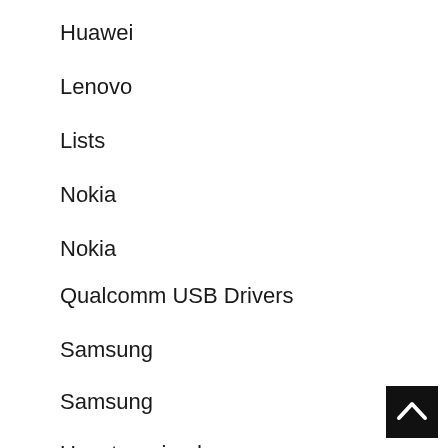Huawei
Lenovo
Lists
Nokia
Nokia
Qualcomm USB Drivers
Samsung
Samsung
Uncategorized
USB Driver
Vivo
Xiaomi